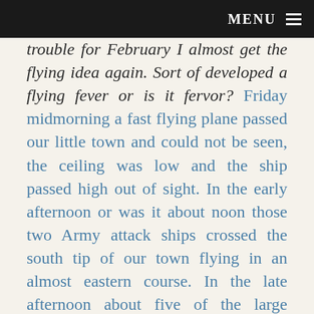MENU
trouble for February I almost get the flying idea again. Sort of developed a flying fever or is it fervor? Friday midmorning a fast flying plane passed our little town and could not be seen, the ceiling was low and the ship passed high out of sight. In the early afternoon or was it about noon those two Army attack ships crossed the south tip of our town flying in an almost eastern course. In the late afternoon about five of the large transports crossed at high altitude (probably to 8000 feet)—did you enjoy hearing those motors? Sounded good to me. The bad weather had held so?? they flew for extended le — and flying